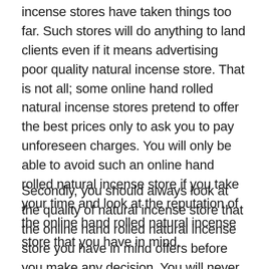incense stores have taken things too far. Such stores will do anything to land clients even if it means advertising poor quality natural incense store. That is not all; some online hand rolled natural incense stores pretend to offer the best prices only to ask you to pay unforeseen charges. You will only be able to avoid such an online hand rolled natural incense store if you take your time and look at the reputation of the online hand rolled natural incense store that you have in mind.
Secondly, you should always look at the quality of natural incense store that the online hand rolled natural incense store you have in mind offers before you make any decision. You will never get value for your money if you purchase a subpar natural incense store. That is why it is always important to ensure that you look for an online hand rolled natural incense store that will provide